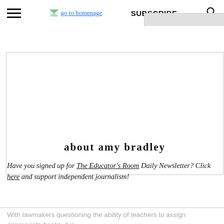go to homepage  SUBSCRIBE  [search icon]
[Figure (other): About Amy Bradley banner card with grey tab at top right and bold centered text reading 'about amy bradley']
Have you signed up for The Educator's Room Daily Newsletter? Click here and support independent journalism!
With lawmakers questioning the ability of teachers to assign appropriate books, it is